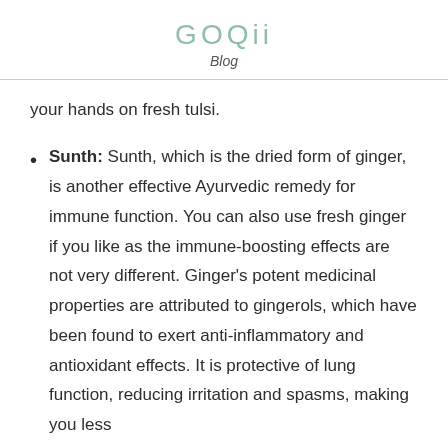GOQii Blog
your hands on fresh tulsi.
Sunth: Sunth, which is the dried form of ginger, is another effective Ayurvedic remedy for immune function. You can also use fresh ginger if you like as the immune-boosting effects are not very different. Ginger’s potent medicinal properties are attributed to gingerols, which have been found to exert anti-inflammatory and antioxidant effects. It is protective of lung function, reducing irritation and spasms, making you less